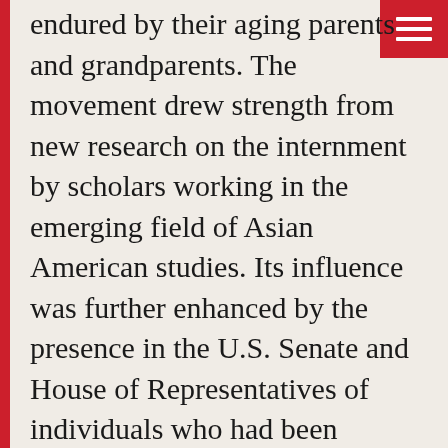endured by their aging parents and grandparents. The movement drew strength from new research on the internment by scholars working in the emerging field of Asian American studies. Its influence was further enhanced by the presence in the U.S. Senate and House of Representatives of individuals who had been directly touched by wartime events, including two who were interned and two who fought in the U.S. Army as members of a